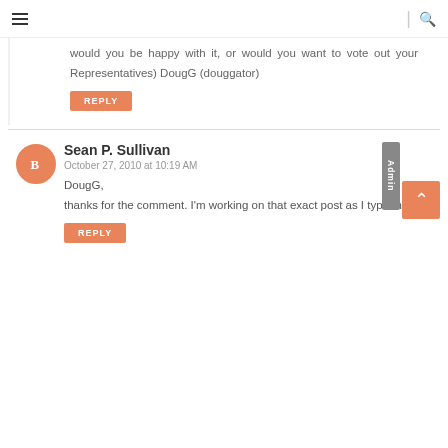Navigation bar with hamburger menu and search icon
would you be happy with it, or would you want to vote out your Representatives) DougG (douggator)
REPLY
Sean P. Sullivan
October 27, 2010 at 10:19 AM
DougG,
thanks for the comment. I'm working on that exact post as I type this.
REPLY